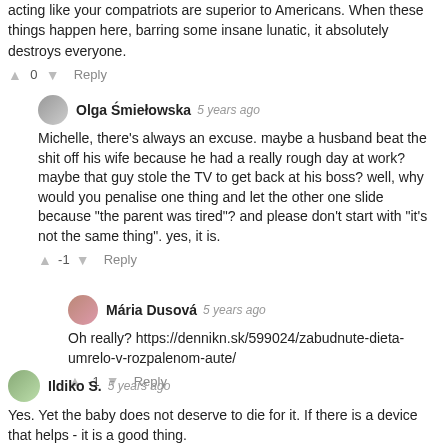acting like your compatriots are superior to Americans. When these things happen here, barring some insane lunatic, it absolutely destroys everyone.
↑ 0 ↓ Reply
Olga Śmiełowska  5 years ago
Michelle, there's always an excuse. maybe a husband beat the shit off his wife because he had a really rough day at work? maybe that guy stole the TV to get back at his boss? well, why would you penalise one thing and let the other one slide because "the parent was tired"? and please don't start with "it's not the same thing". yes, it is.
↑ -1 ↓ Reply
Mária Dusová  5 years ago
Oh really? https://dennikn.sk/599024/zabudnute-dieta-umrelo-v-rozpalenom-aute/
↑ -1 ↓ Reply
Ildiko S.  5 years ago
Yes. Yet the baby does not deserve to die for it. If there is a device that helps - it is a good thing.
↑ 5 ↓ Reply